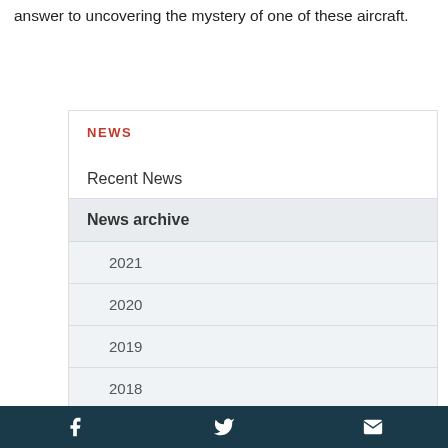answer to uncovering the mystery of one of these aircraft.
NEWS
Recent News
News archive
2021
2020
2019
2018
2017
2016
2015
2014
2013
Social media links: Facebook, Twitter, Email